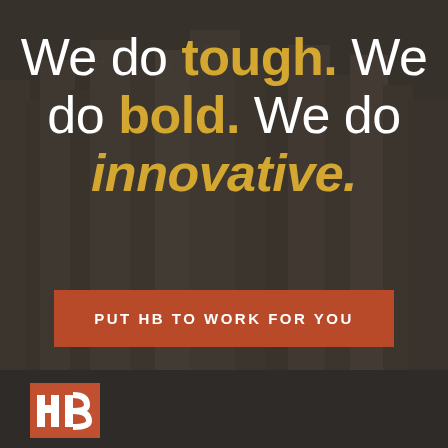[Figure (illustration): Dark-toned cityscape background photo with buildings, overlaid with a semi-transparent dark overlay]
We do tough. We do bold. We do innovative.
PUT HB TO WORK FOR YOU
[Figure (logo): HB logo mark in red/orange box at bottom left]